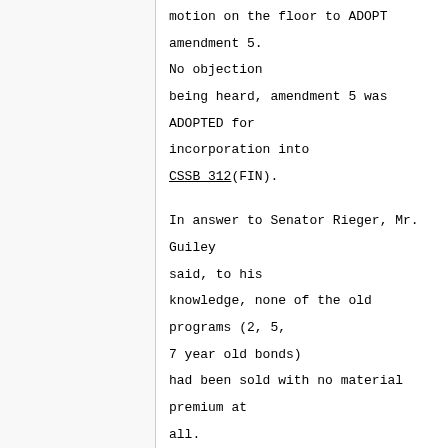motion on the floor to ADOPT amendment 5. No objection being heard, amendment 5 was ADOPTED for incorporation into CSSB 312(FIN).
In answer to Senator Rieger, Mr. Guiley said, to his knowledge, none of the old programs (2, 5, 7 year old bonds) had been sold with no material premium at all.
Co-chair Pearce commented that amendment 3 had been pending and it was replaced with amendment 4 (which was adopted).